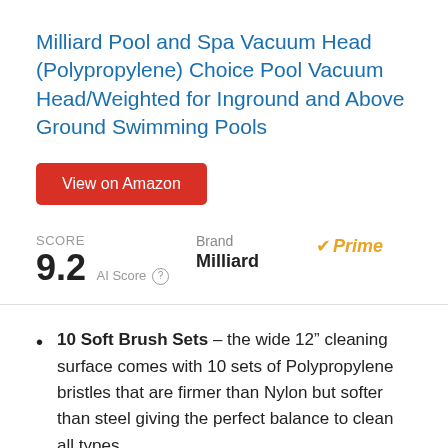Milliard Pool and Spa Vacuum Head (Polypropylene) Choice Pool Vacuum Head/Weighted for Inground and Above Ground Swimming Pools
View on Amazon
SCORE 9.2 AI Score
Brand Milliard
Prime
10 Soft Brush Sets – the wide 12” cleaning surface comes with 10 sets of Polypropylene bristles that are firmer than Nylon but softer than steel giving the perfect balance to clean all types